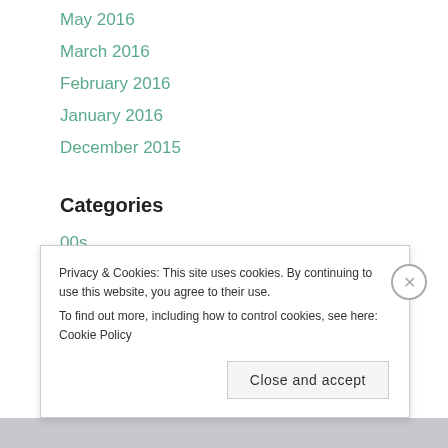May 2016
March 2016
February 2016
January 2016
December 2015
Categories
00s
2010s
2020
2020s
Privacy & Cookies: This site uses cookies. By continuing to use this website, you agree to their use.
To find out more, including how to control cookies, see here: Cookie Policy
Close and accept